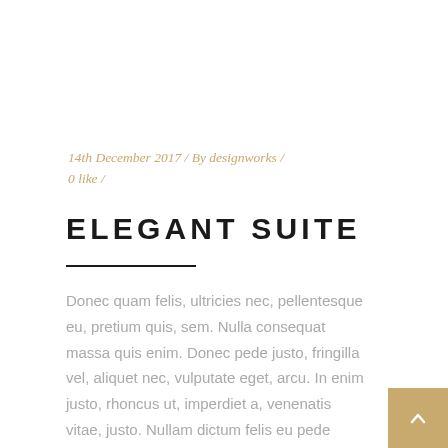14th December 2017 / By designworks / 0 like /
ELEGANT SUITE
Donec quam felis, ultricies nec, pellentesque eu, pretium quis, sem. Nulla consequat massa quis enim. Donec pede justo, fringilla vel, aliquet nec, vulputate eget, arcu. In enim justo, rhoncus ut, imperdiet a, venenatis vitae, justo. Nullam dictum felis eu pede